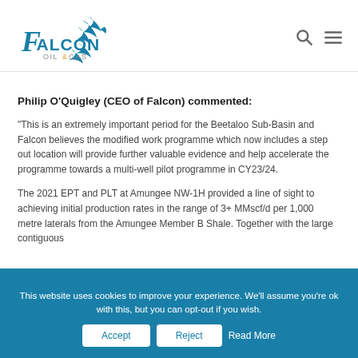[Figure (logo): Falcon Oil & Gas company logo with falcon bird graphic in teal/blue and orange accent color]
Philip O'Quigley (CEO of Falcon) commented:
“This is an extremely important period for the Beetaloo Sub-Basin and Falcon believes the modified work programme which now includes a step out location will provide further valuable evidence and help accelerate the programme towards a multi-well pilot programme in CY23/24.
The 2021 EPT and PLT at Amungee NW-1H provided a line of sight to achieving initial production rates in the range of 3+ MMscf/d per 1,000 metre laterals from the Amungee Member B Shale. Together with the large contiguous
This website uses cookies to improve your experience. We’ll assume you’re ok with this, but you can opt-out if you wish.